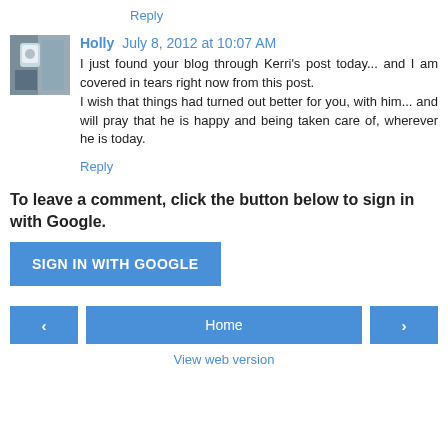Reply
Holly  July 8, 2012 at 10:07 AM
I just found your blog through Kerri's post today... and I am covered in tears right now from this post.
I wish that things had turned out better for you, with him... and will pray that he is happy and being taken care of, wherever he is today.
Reply
To leave a comment, click the button below to sign in with Google.
SIGN IN WITH GOOGLE
‹
Home
›
View web version